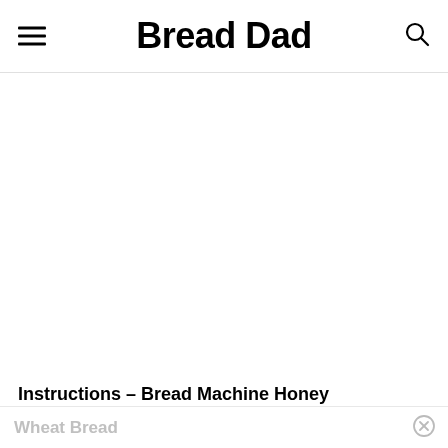Bread Dad
[Figure (photo): Large blank/white image area below the header, likely a food photo placeholder for bread machine honey wheat bread recipe]
Instructions – Bread Machine Honey
Wheat Bread